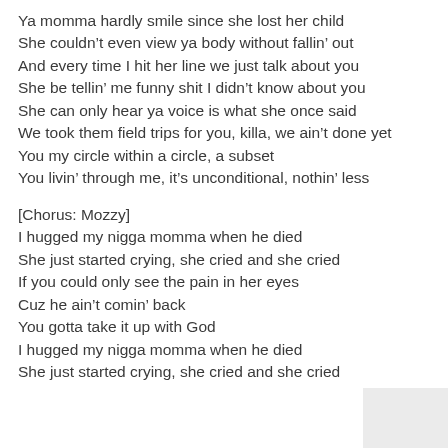Ya momma hardly smile since she lost her child
She couldn’t even view ya body without fallin’ out
And every time I hit her line we just talk about you
She be tellin’ me funny shit I didn’t know about you
She can only hear ya voice is what she once said
We took them field trips for you, killa, we ain’t done yet
You my circle within a circle, a subset
You livin’ through me, it’s unconditional, nothin’ less
[Chorus: Mozzy]
I hugged my nigga momma when he died
She just started crying, she cried and she cried
If you could only see the pain in her eyes
Cuz he ain’t comin’ back
You gotta take it up with God
I hugged my nigga momma when he died
She just started crying, she cried and she cried